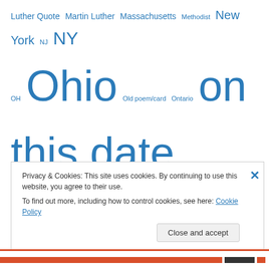Luther Quote Martin Luther Massachusetts Methodist New York NJ NY OH Ohio Old poem/card Ontario on this date PA pastoring Paul W. Finch Philadelphia poem Scotland sin soul Tennessee the Word this date TN today in history Translation Trouble truth Westfield Word ~ NAMES OF Christ ~
Privacy & Cookies: This site uses cookies. By continuing to use this website, you agree to their use.
To find out more, including how to control cookies, see here: Cookie Policy
Close and accept